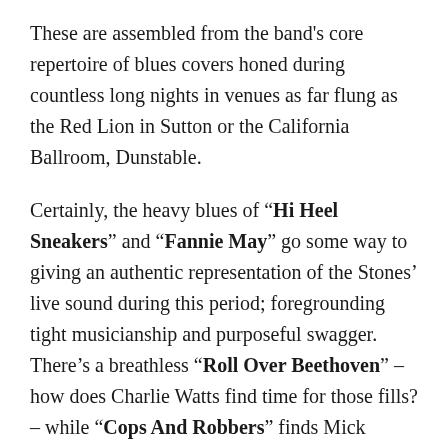These are assembled from the band's core repertoire of blues covers honed during countless long nights in venues as far flung as the Red Lion in Sutton or the California Ballroom, Dunstable.
Certainly, the heavy blues of "Hi Heel Sneakers" and "Fannie May" go some way to giving an authentic representation of the Stones' live sound during this period; foregrounding tight musicianship and purposeful swagger. There's a breathless "Roll Over Beethoven" – how does Charlie Watts find time for those fills? – while "Cops And Robbers" finds Mick Jagger doing his best Americ-ay-un accent over a 4/4 bluesy strut, interspaced with some expansive harp soloing.